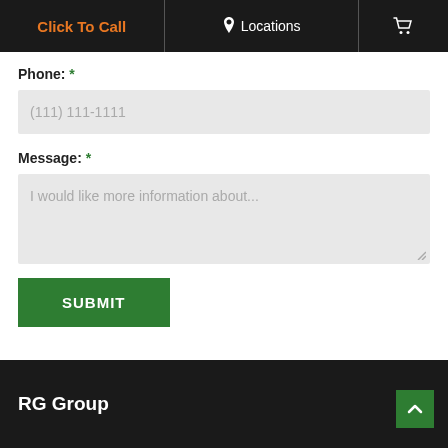Click To Call | Locations | [cart icon]
Phone: *
(111) 111-1111
Message: *
I would like more information about...
SUBMIT
RG Group